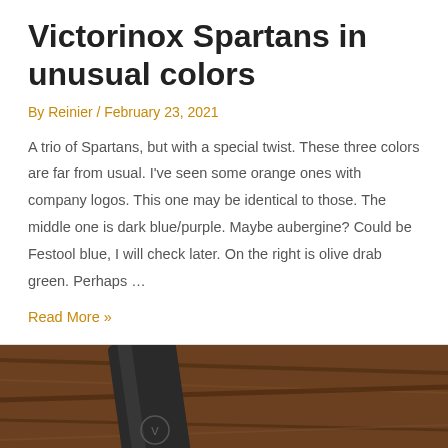Victorinox Spartans in unusual colors
By Reinier / February 23, 2021
A trio of Spartans, but with a special twist. These three colors are far from usual. I've seen some orange ones with company logos. This one may be identical to those. The middle one is dark blue/purple. Maybe aubergine? Could be Festool blue, I will check later. On the right is olive drab green. Perhaps …
Read More »
[Figure (photo): Close-up photo of a Victorinox Swiss Army knife on a wooden surface, showing the dark metallic blade and white tool parts]